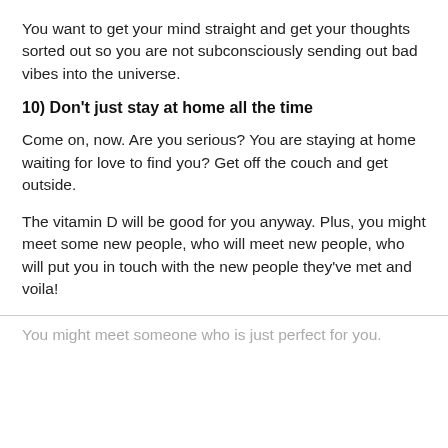You want to get your mind straight and get your thoughts sorted out so you are not subconsciously sending out bad vibes into the universe.
10) Don't just stay at home all the time
Come on, now. Are you serious? You are staying at home waiting for love to find you? Get off the couch and get outside.
The vitamin D will be good for you anyway. Plus, you might meet some new people, who will meet new people, who will put you in touch with the new people they've met and voila!
You might meet someone who is just perfect for you.